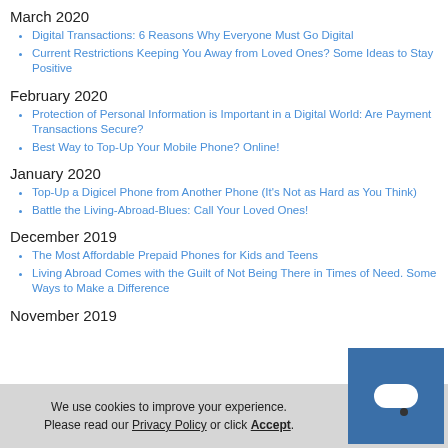March 2020
Digital Transactions: 6 Reasons Why Everyone Must Go Digital
Current Restrictions Keeping You Away from Loved Ones? Some Ideas to Stay Positive
February 2020
Protection of Personal Information is Important in a Digital World: Are Payment Transactions Secure?
Best Way to Top-Up Your Mobile Phone? Online!
January 2020
Top-Up a Digicel Phone from Another Phone (It's Not as Hard as You Think)
Battle the Living-Abroad-Blues: Call Your Loved Ones!
December 2019
The Most Affordable Prepaid Phones for Kids and Teens
Living Abroad Comes with the Guilt of Not Being There in Times of Need. Some Ways to Make a Difference
November 2019
We use cookies to improve your experience. Please read our Privacy Policy or click Accept.